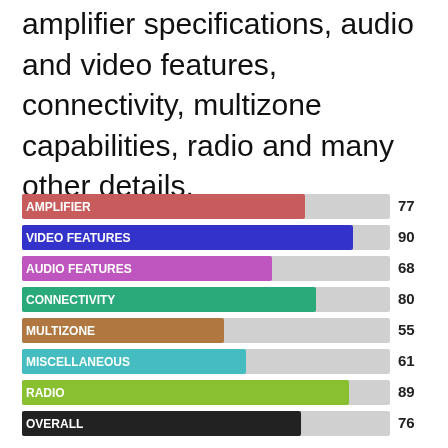amplifier specifications, audio and video features, connectivity, multizone capabilities, radio and many other details.
[Figure (bar-chart): Category scores]